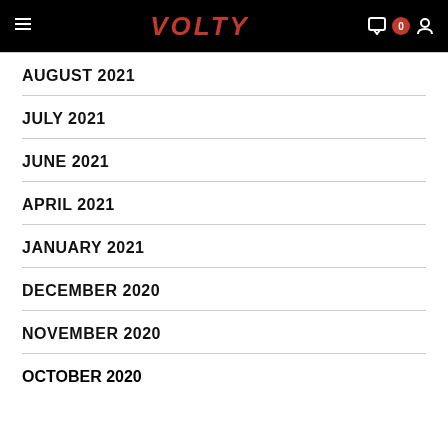VOLTY
AUGUST 2021
JULY 2021
JUNE 2021
APRIL 2021
JANUARY 2021
DECEMBER 2020
NOVEMBER 2020
OCTOBER 2020